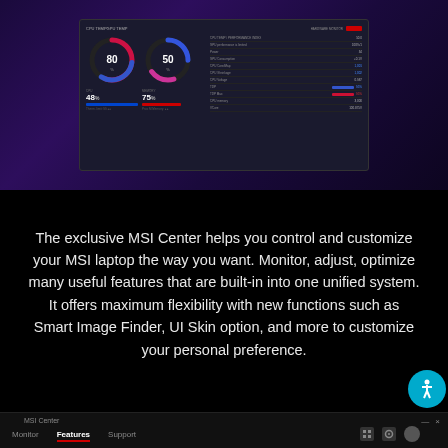[Figure (screenshot): Screenshot of MSI Center software interface showing CPU and GPU gauges (80% and 50%), usage stats (48x, 75x), and a hardware monitoring table with temperature, voltage, and frequency readings on a dark themed UI.]
The exclusive MSI Center helps you control and customize your MSI laptop the way you want. Monitor, adjust, optimize many useful features that are built-in into one unified system. It offers maximum flexibility with new functions such as Smart Image Finder, UI Skin option, and more to customize your personal preference.
MSI Center | Monitor | Features | Support